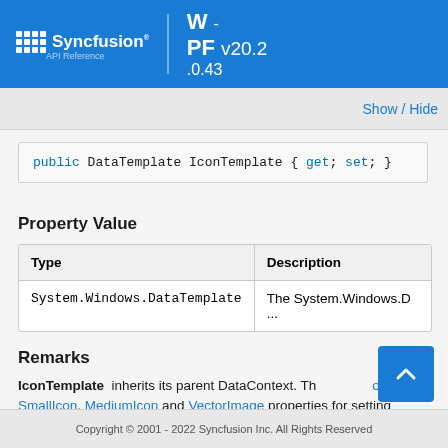Syncfusion API Reference — WPF - v20.2.0.43
Show / Hide
Property Value
| Type | Description |
| --- | --- |
| System.Windows.DataTemplate | The System.Windows.D... |
Remarks
IconTemplate inherits its parent DataContext. Th...IconItem SmallIcon, MediumIcon and VectorImage properties for setting
Copyright © 2001 - 2022 Syncfusion Inc. All Rights Reserved